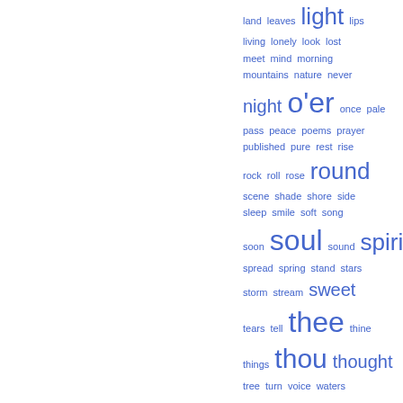[Figure (infographic): Word cloud showing poetic/literary vocabulary words in varying sizes (indicating frequency) in blue on white background. Words include: land, leaves, light, lips, living, lonely, look, lost, meet, mind, morning, mountains, nature, never, night, o'er, once, pale, pass, peace, poems, prayer, published, pure, rest, rise, rock, roll, rose, round, scene, shade, shore, side, sleep, smile, soft, song, soon, soul, sound, spirit, spread, spring, stand, stars, storm, stream, sweet, tears, tell, thee, thine, things, thou, thought, tree, turn, voice, waters, wave, wild, wind, wings, woods, young, youth]